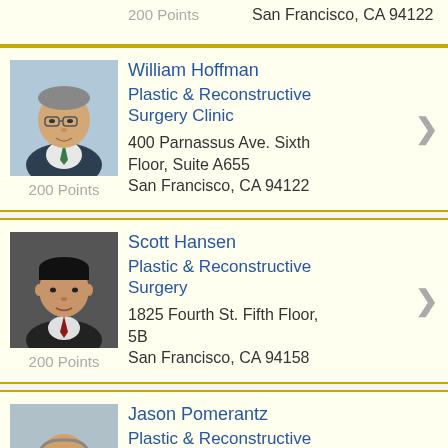200 Points  San Francisco, CA 94122
William Hoffman
Plastic & Reconstructive Surgery Clinic
400 Parnassus Ave. Sixth Floor, Suite A655
San Francisco, CA 94122
200 Points
Scott Hansen
Plastic & Reconstructive Surgery
1825 Fourth St. Fifth Floor, 5B
San Francisco, CA 94158
200 Points
Jason Pomerantz
Plastic & Reconstructive Surgery
1825 Fourth St. Fifth Floor, 5B
San Francisco, CA 94158
200 Points